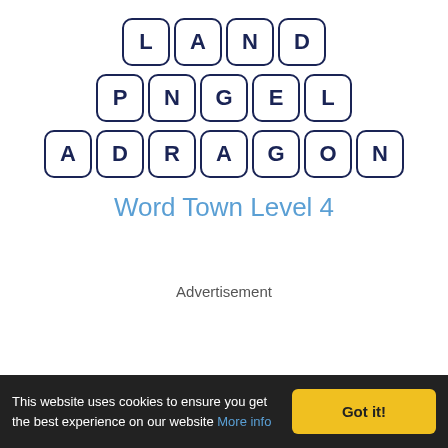[Figure (other): Word puzzle tiles arranged in three rows spelling LAND, PNGEL, ADRAGON with rounded square letter tiles in dark blue]
Word Town Level 4
Advertisement
This website uses cookies to ensure you get the best experience on our website More info